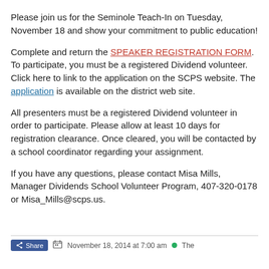Please join us for the Seminole Teach-In on Tuesday, November 18 and show your commitment to public education!
Complete and return the SPEAKER REGISTRATION FORM. To participate, you must be a registered Dividend volunteer. Click here to link to the application on the SCPS website. The application is available on the district web site.
All presenters must be a registered Dividend volunteer in order to participate. Please allow at least 10 days for registration clearance. Once cleared, you will be contacted by a school coordinator regarding your assignment.
If you have any questions, please contact Misa Mills, Manager Dividends School Volunteer Program, 407-320-0178 or Misa_Mills@scps.us.
November 18, 2014 at 7:00 am · The